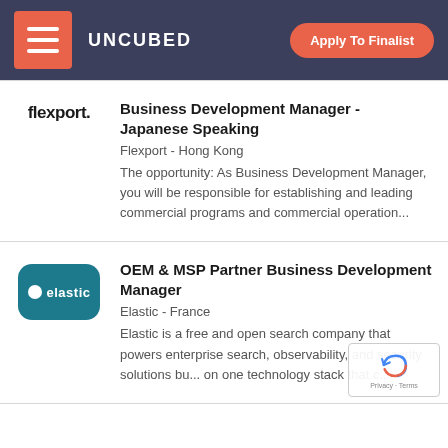UNCUBED  Apply To Finalist
Business Development Manager - Japanese Speaking
Flexport - Hong Kong
The opportunity: As Business Development Manager, you will be responsible for establishing and leading commercial programs and commercial operation...
OEM & MSP Partner Business Development Manager
Elastic - France
Elastic is a free and open search company that powers enterprise search, observability, and security solutions bu... on one technology stack that c...